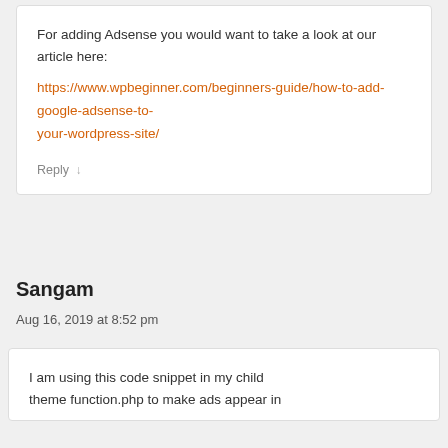For adding Adsense you would want to take a look at our article here:
https://www.wpbeginner.com/beginners-guide/how-to-add-google-adsense-to-your-wordpress-site/
Reply ↓
Sangam
Aug 16, 2019 at 8:52 pm
I am using this code snippet in my child theme function.php to make ads appear in